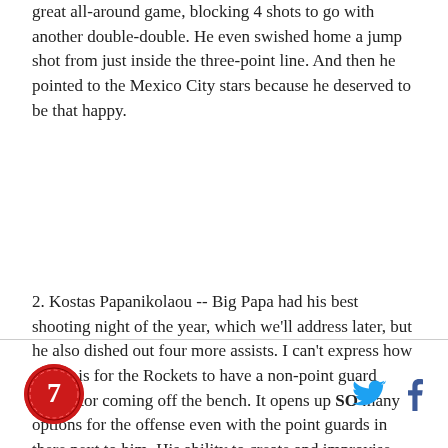great all-around game, blocking 4 shots to go with another double-double. He even swished home a jump shot from just inside the three-point line. And then he pointed to the Mexico City stars because he deserved to be that happy.
2. Kostas Papanikolaou -- Big Papa had his best shooting night of the year, which we'll address later, but he also dished out four more assists. I can't express how nice it is for the Rockets to have a non-point guard facilitator coming off the bench. It opens up SO many options for the offense even with the point guards in there next to him. His ability to create and improvise even the slightest bit is very valuable.
[Figure (logo): Round red logo with stylized design]
[Figure (illustration): Twitter bird icon and Facebook f icon for social sharing]